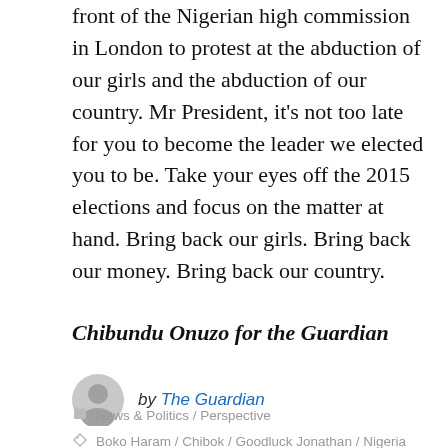front of the Nigerian high commission in London to protest at the abduction of our girls and the abduction of our country. Mr President, it's not too late for you to become the leader we elected you to be. Take your eyes off the 2015 elections and focus on the matter at hand. Bring back our girls. Bring back our money. Bring back our country.
Chibundu Onuzo for the Guardian
[Figure (illustration): Gray circular avatar/profile icon]
by The Guardian
News & Politics / Perspective
Boko Haram / Chibok / Goodluck Jonathan / Nigeria